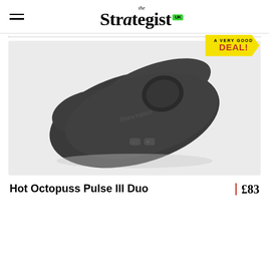the Strategist UK
[Figure (photo): Hot Octopuss Pulse III Duo product photo - dark grey ergonomic device on light grey background, with 'A VERY GOOD DEAL!' badge overlay]
Hot Octopuss Pulse III Duo
£83